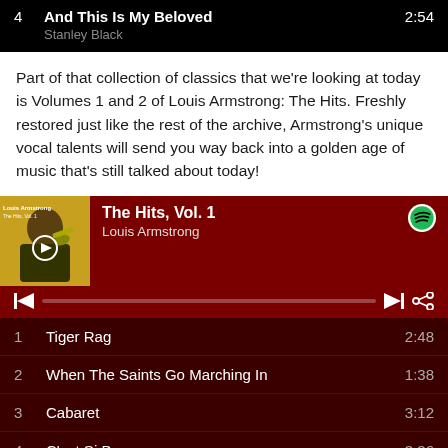| # | Title | Time |
| --- | --- | --- |
| 4 | And This Is My Beloved / Stanley Black | 2:54 |
Part of that collection of classics that we're looking at today is Volumes 1 and 2 of Louis Armstrong: The Hits. Freshly restored just like the rest of the archive, Armstrong's unique vocal talents will send you way back into a golden age of music that's still talked about today!
[Figure (screenshot): Spotify player widget showing Louis Armstrong - The Hits, Vol. 1 with album art and playback controls]
| # | Title | Duration |
| --- | --- | --- |
| 1 | Tiger Rag | 2:48 |
| 2 | When The Saints Go Marching In | 1:38 |
| 3 | Cabaret | 3:12 |
| 4 | C'est Si Bon | 3:36 |
| 5 | Can Anyone Explain | 3:15 |
| 6 | On The Sunny Side Of The Street | 3:25 |